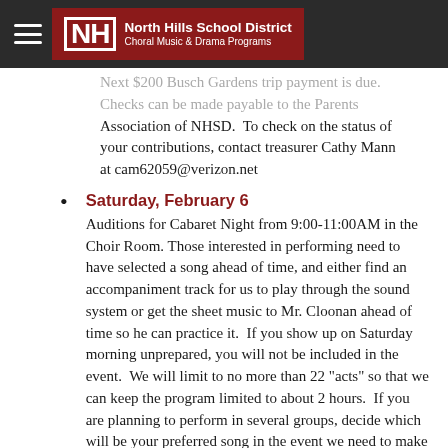North Hills School District Choral Music & Drama Programs
Next $200 Busch Gardens trip payment is due. Checks can be made payable to the Parents Association of NHSD.  To check on the status of your contributions, contact treasurer Cathy Mann at cam62059@verizon.net
Saturday, February 6
Auditions for Cabaret Night from 9:00-11:00AM in the Choir Room. Those interested in performing need to have selected a song ahead of time, and either find an accompaniment track for us to play through the sound system or get the sheet music to Mr. Cloonan ahead of time so he can practice it.  If you show up on Saturday morning unprepared, you will not be included in the event.  We will limit to no more than 22 "acts" so that we can keep the program limited to about 2 hours.  If you are planning to perform in several groups, decide which will be your preferred song in the event we need to make cuts. Priority will be by seniority, as younger